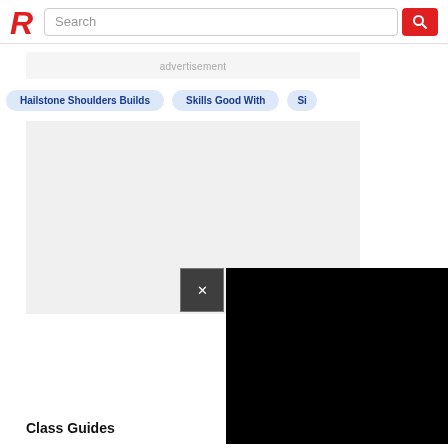R  Search
advertisement
Hailstone Shoulders Builds
Skills Good With
Si
[Figure (screenshot): Gray content area placeholder with black video overlay containing a close (X) button]
Class Guides